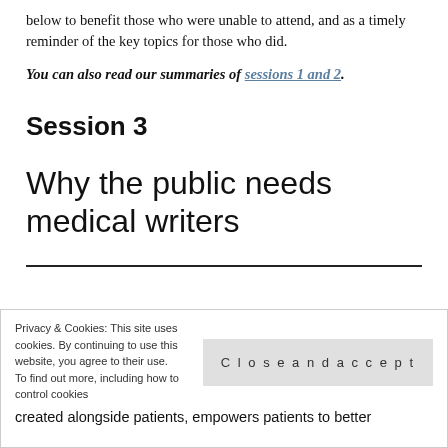below to benefit those who were unable to attend, and as a timely reminder of the key topics for those who did.
You can also read our summaries of sessions 1 and 2.
Session 3
Why the public needs medical writers
Privacy & Cookies: This site uses cookies. By continuing to use this website, you agree to their use. To find out more, including how to control cookies
created alongside patients, empowers patients to better